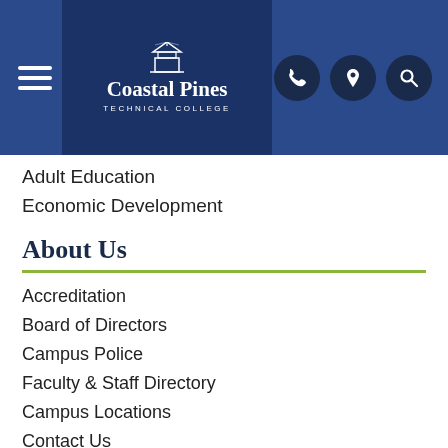Coastal Pines Technical College
Adult Education
Economic Development
About Us
Accreditation
Board of Directors
Campus Police
Faculty & Staff Directory
Campus Locations
Contact Us
Mission & Vision
Legal